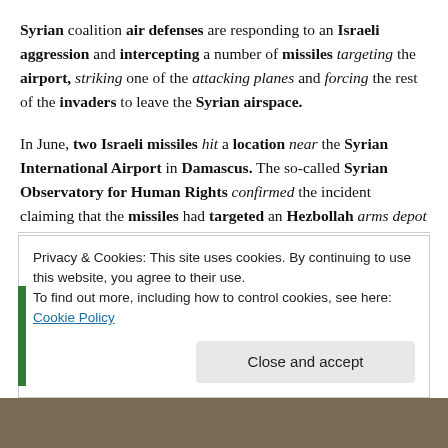Syrian coalition air defenses are responding to an Israeli aggression and intercepting a number of missiles targeting the airport, striking one of the attacking planes and forcing the rest of the invaders to leave the Syrian airspace.
In June, two Israeli missiles hit a location near the Syrian International Airport in Damascus. The so-called Syrian Observatory for Human Rights confirmed the incident claiming that the missiles had targeted an Hezbollah arms depot located close to the airport.
Privacy & Cookies: This site uses cookies. By continuing to use this website, you agree to their use. To find out more, including how to control cookies, see here: Cookie Policy